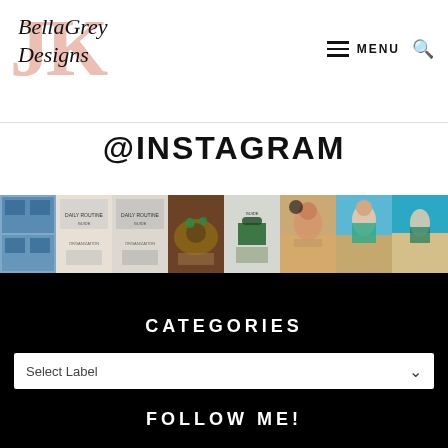[Figure (logo): BellaGrey Designs logo with 'JK' letters in pink/salmon behind cursive text 'BellaGrey Designs']
MENU
@INSTAGRAM
[Figure (photo): Row of 8 Instagram photos showing home decor items, fashion accessories, beach and travel photos]
CATEGORIES
Select Label
FOLLOW ME!